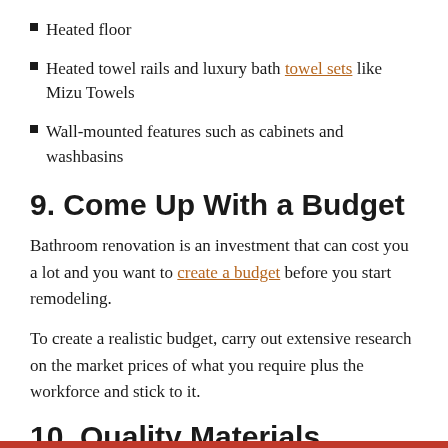Heated floor
Heated towel rails and luxury bath towel sets like Mizu Towels
Wall-mounted features such as cabinets and washbasins
9. Come Up With a Budget
Bathroom renovation is an investment that can cost you a lot and you want to create a budget before you start remodeling.
To create a realistic budget, carry out extensive research on the market prices of what you require plus the workforce and stick to it.
10. Quality Materials